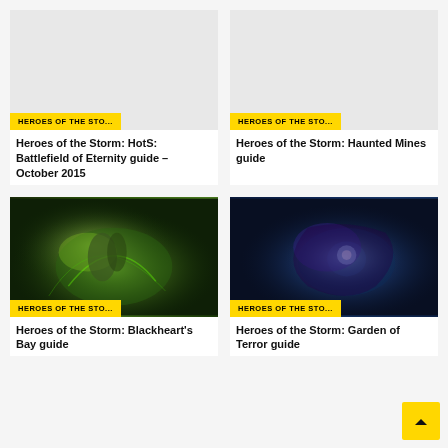[Figure (screenshot): Placeholder grey thumbnail for Heroes of the Storm article]
HEROES OF THE STO...
Heroes of the Storm: HotS: Battlefield of Eternity guide – October 2015
[Figure (screenshot): Placeholder grey thumbnail for Heroes of the Storm article]
HEROES OF THE STO...
Heroes of the Storm: Haunted Mines guide
[Figure (screenshot): Dark green game screenshot showing a character with glowing green effects]
HEROES OF THE STO...
Heroes of the Storm: Blackheart's Bay guide
[Figure (screenshot): Dark blue/purple underwater game screenshot showing a character with blue glowing effects]
HEROES OF THE STO...
Heroes of the Storm: Garden of Terror guide